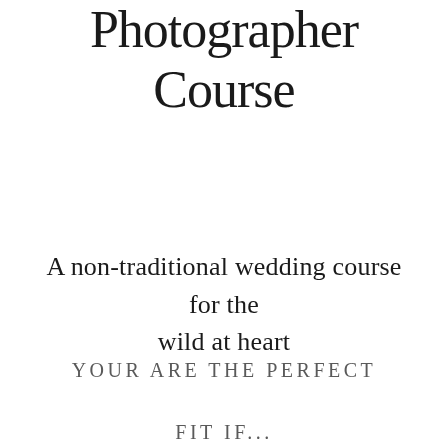Photographer Course
A non-traditional wedding course for the wild at heart
YOUR ARE THE PERFECT FIT IF...